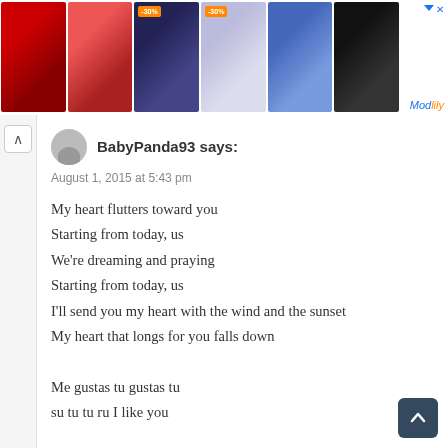[Figure (screenshot): Advertisement banner showing 6 women's clothing/swimwear photos with ModLily branding and -30% discount badges]
BabyPanda93 says:
August 1, 2015 at 5:43 pm

My heart flutters toward you
Starting from today, us
We're dreaming and praying
Starting from today, us
I'll send you my heart with the wind and the sunset
My heart that longs for you falls down

Me gustas tu gustas tu
su tu tu ru I like you